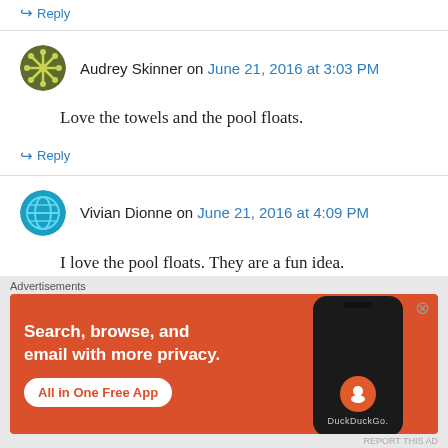↪ Reply
Audrey Skinner on June 21, 2016 at 3:03 PM
Love the towels and the pool floats.
↪ Reply
Vivian Dionne on June 21, 2016 at 4:09 PM
I love the pool floats. They are a fun idea.
↪ Reply
[Figure (screenshot): DuckDuckGo advertisement banner: orange background with text 'Search, browse, and email with more privacy. All in One Free App' and a phone mockup showing the DuckDuckGo logo.]